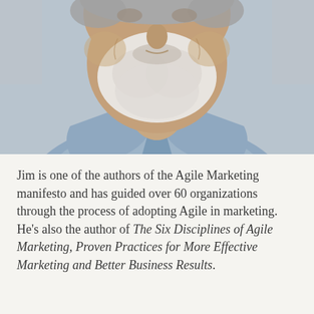[Figure (photo): Close-up photo of a smiling older man with white beard and gray hair, wearing a light blue button-up shirt. Only the lower face, neck, and upper chest are visible.]
Jim is one of the authors of the Agile Marketing manifesto and has guided over 60 organizations through the process of adopting Agile in marketing. He's also the author of The Six Disciplines of Agile Marketing, Proven Practices for More Effective Marketing and Better Business Results.